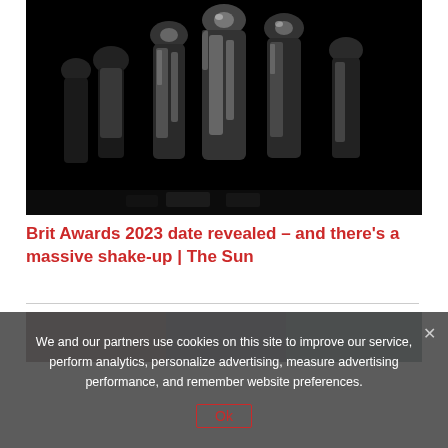[Figure (photo): Black and white photo of multiple shiny metallic award statuettes grouped together against a black background, resembling the BRIT Awards trophies]
Brit Awards 2023 date revealed – and there's a massive shake-up | The Sun
[Figure (photo): Partially visible image with dark tones in red, dark blue, and teal colors]
We and our partners use cookies on this site to improve our service, perform analytics, personalize advertising, measure advertising performance, and remember website preferences.